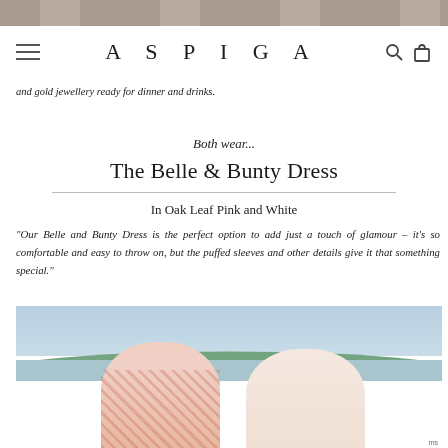[Figure (photo): Top cropped photo of wooden deck or table with a hand visible]
ASPIGA (navigation bar with hamburger menu, search and cart icons)
and gold jewellery ready for dinner and drinks.
Both wear...
The Belle & Bunty Dress
In Oak Leaf Pink and White
"Our Belle and Bunty Dress is the perfect option to add just a touch of glamour – it's so comfortable and easy to throw on, but the puffed sleeves and other details give it that something special."
[Figure (photo): Two women standing together in front of a harbour with sailboats and green hills, both wearing the Belle & Bunty Dress in Oak Leaf Pink and White]